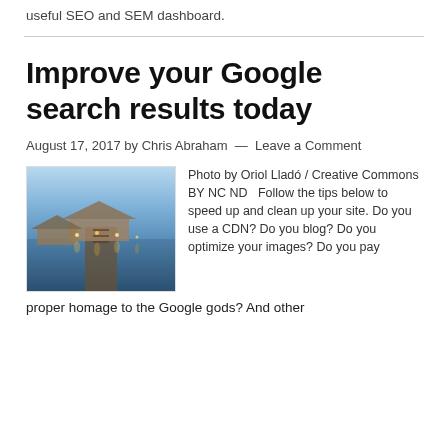useful SEO and SEM dashboard.
Improve your Google search results today
August 17, 2017 by Chris Abraham — Leave a Comment
[Figure (photo): A waterfront dock/pier scene at dusk with thatched-roof huts and string lights reflected in calm blue water.]
Photo by Oriol Lladó / Creative Commons BY NC ND   Follow the tips below to speed up and clean up your site. Do you use a CDN? Do you blog? Do you optimize your images? Do you pay proper homage to the Google gods? And other
proper homage to the Google gods? And other